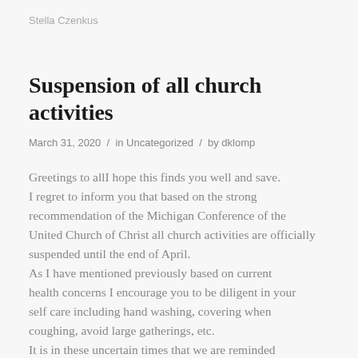Stella Czenkus
Suspension of all church activities
March 31, 2020 / in Uncategorized / by dklomp
Greetings to allI hope this finds you well and save. I regret to inform you that based on the strong recommendation of the Michigan Conference of the United Church of Christ all church activities are officially suspended until the end of April. As I have mentioned previously based on current health concerns I encourage you to be diligent in your self care including hand washing, covering when coughing, avoid large gatherings, etc. It is in these uncertain times that we are reminded that we are called to be the face of Christ to those